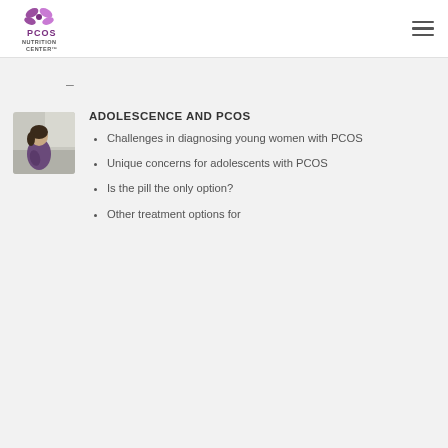PCOS NUTRITION CENTER
–
ADOLESCENCE AND PCOS
[Figure (photo): Young woman sitting with knees drawn up, seen from the side, wearing a purple top]
Challenges in diagnosing young women with PCOS
Unique concerns for adolescents with PCOS
Is the pill the only option?
Other treatment options for